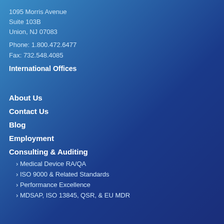1095 Morris Avenue
Suite 103B
Union, NJ 07083
Phone: 1.800.472.6477
Fax: 732.548.4085
International Offices
About Us
Contact Us
Blog
Employment
Consulting & Auditing
Medical Device RA/QA
ISO 9000 & Related Standards
Performance Excellence
MDSAP, ISO 13845, QSR, & EU MDR